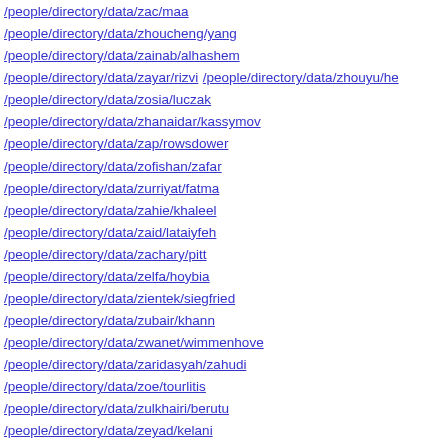/people/directory/data/zac/maa
/people/directory/data/zhoucheng/yang
/people/directory/data/zainab/alhashem
/people/directory/data/zayar/rizvi /people/directory/data/zhouyu/he
/people/directory/data/zosia/luczak
/people/directory/data/zhanaidar/kassymov
/people/directory/data/zap/rowsdower
/people/directory/data/zofishan/zafar
/people/directory/data/zurriyat/fatma
/people/directory/data/zahie/khaleel
/people/directory/data/zaid/lataiyfeh
/people/directory/data/zachary/pitt
/people/directory/data/zelfa/hoybia
/people/directory/data/zientek/siegfried
/people/directory/data/zubair/khann
/people/directory/data/zwanet/wimmenhove
/people/directory/data/zaridasyah/zahudi
/people/directory/data/zoe/tourlitis
/people/directory/data/zulkhairi/berutu
/people/directory/data/zeyad/kelani
/people/directory/data/zana/sylla
/people/directory/data/zachary/bandle
/people/directory/data/znagui/abdelilah
/people/directory/data/zygmunt/wyka
/people/directory/data/ze/arnaldi
/people/directory/data/zivorad/milanovic